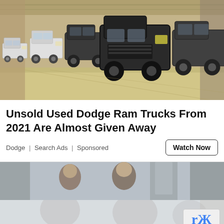[Figure (photo): A row of trucks (some covered with tarps) parked inside a large storage building or barn with sandy/dirt floor]
Unsold Used Dodge Ram Trucks From 2021 Are Almost Given Away
Dodge | Search Ads | Sponsored
[Figure (photo): A faded/partially obscured photograph of a group of children, with a reCAPTCHA badge visible in the bottom right corner]